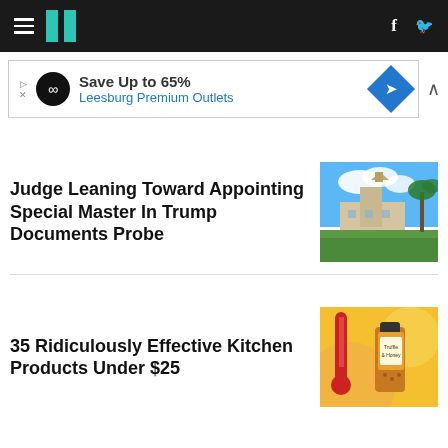HuffPost navigation with hamburger menu, logo, Facebook and Twitter icons
[Figure (infographic): Advertisement banner: Save Up to 65% Leesburg Premium Outlets]
Judge Leaning Toward Appointing Special Master In Trump Documents Probe
[Figure (photo): Photo of Mar-a-Lago estate with blue sky and palm trees]
35 Ridiculously Effective Kitchen Products Under $25
[Figure (photo): Photo of kitchen products including a red thermometer and spice bottle on yellow background]